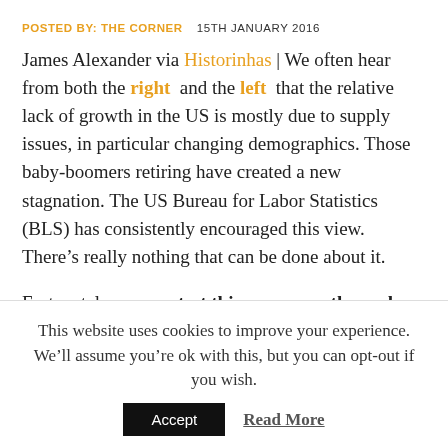POSTED BY: THE CORNER   15TH JANUARY 2016
James Alexander via Historinhas | We often hear from both the right and the left that the relative lack of growth in the US is mostly due to supply issues, in particular changing demographics. Those baby-boomers retiring have created a new stagnation. The US Bureau for Labor Statistics (BLS) has consistently encouraged this view. There’s really nothing that can be done about it.
Fortunately, we can test this consensus theory by looking at the 2002 projections made by the BLS themselves to model the impact of the ageing population on participation rates and
This website uses cookies to improve your experience. We’ll assume you’re ok with this, but you can opt-out if you wish.
Accept   Read More